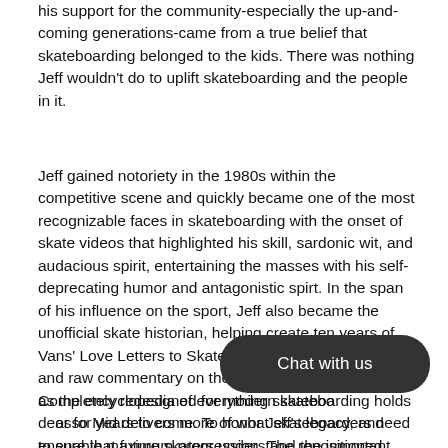his support for the community-especially the up-and-coming generations-came from a true belief that skateboarding belonged to the kids. There was nothing Jeff wouldn't do to uplift skateboarding and the people in it.
Jeff gained notoriety in the 1980s within the competitive scene and quickly became one of the most recognizable faces in skateboarding with the onset of skate videos that highlighted his skill, sardonic wit, and audacious spirit, entertaining the masses with his self-deprecating humor and antagonistic spirt. In the span of his influence on the sport, Jeff also became the unofficial skate historian, helping create ten years of Vans' Love Letters to Skateboarding with his unique and raw commentary on the industry, which will serve as the encyclopedia of everything skateboarding holds dear for years to come. To honor Jeff's legacy, and ensure that future skaters understand the important role he played in shaping skateboarding's history, Vans unveils a new iconic style: the Skate Grosso Mid
Completely redesigned for modern skatebo... osso Mid delivers more of what skateboarders need to enable maximum progression. The repositioned DURACAR™ reinforced underlays